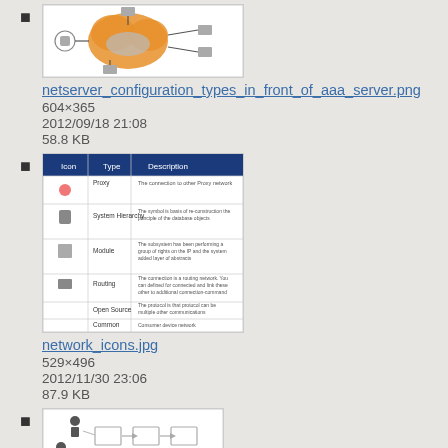netserver_configuration_types_in_front_of_aaa_server.png
604×365
2012/09/18 21:08
58.8 KB
network_icons.jpg
529×496
2012/11/30 23:06
87.9 KB
new_api_flowchart.png
1160×520
2014/08/27 19:01
40.6 KB
(partial entry at bottom)